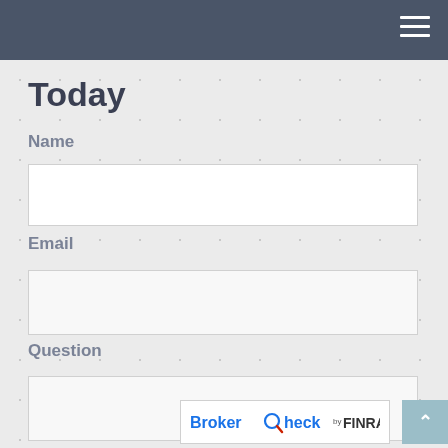Navigation menu header bar
Today
Name
Email
Question
[Figure (logo): BrokerCheck by FINRA logo badge]